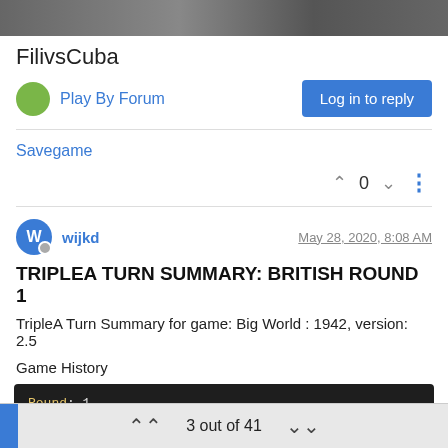FilivsCuba
Play By Forum
Log in to reply
Savegame
0
wijkd   May 28, 2020, 8:08 AM
TRIPLEA TURN SUMMARY: BRITISH ROUND 1
TripleA Turn Summary for game: Big World : 1942, version: 2.5
Game History
Round: 1

    Purchase Units - British
3 out of 41